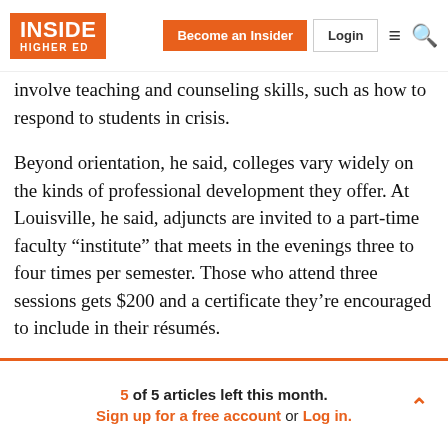INSIDE HIGHER ED | Become an Insider | Login
involve teaching and counseling skills, such as how to respond to students in crisis.
Beyond orientation, he said, colleges vary widely on the kinds of professional development they offer. At Louisville, he said, adjuncts are invited to a part-time faculty “institute” that meets in the evenings three to four times per semester. Those who attend three sessions gets $200 and a certificate they’re encouraged to include in their résumés.
Fuller said community colleges tend to a do a better job
5 of 5 articles left this month. Sign up for a free account or Log in.